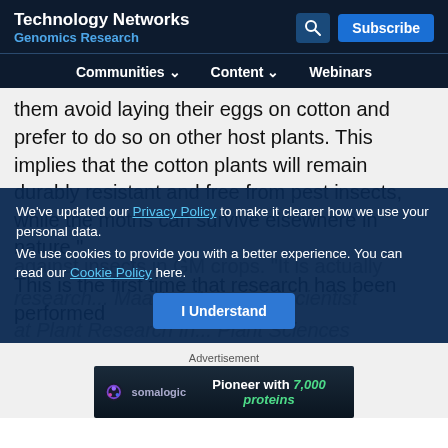Technology Networks Genomics Research
Communities | Content | Webinars
them avoid laying their eggs on cotton and prefer to do so on other host plants. This implies that the cotton plants will remain durably resistant and free from pest insects, while the moths can survive elsewhere in nature."
This is the first time that research has been performed
We've updated our Privacy Policy to make it clearer how we use your personal data.
We use cookies to provide you with a better experience. You can read our Cookie Policy here.
against insects in GM crops. "It is actually
research... Maarten Jongsma, scientist at Plant Research In... Plant Sciences Group. "Based on decades of... studies, it was
Advertisement
[Figure (infographic): Somalogic advertisement banner: 'Pioneer with 7,000 proteins' with somalogic logo]